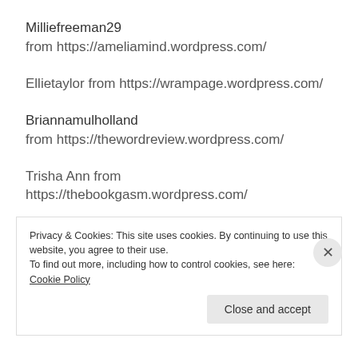Milliefreeman29
from https://ameliamind.wordpress.com/
Ellietaylor from https://wrampage.wordpress.com/
Briannamulholland
from https://thewordreview.wordpress.com/
Trisha Ann from https://thebookgasm.wordpress.com/
Ruth101
from https://anything2autopsy.wordpress.com/
Privacy & Cookies: This site uses cookies. By continuing to use this website, you agree to their use.
To find out more, including how to control cookies, see here: Cookie Policy
Close and accept